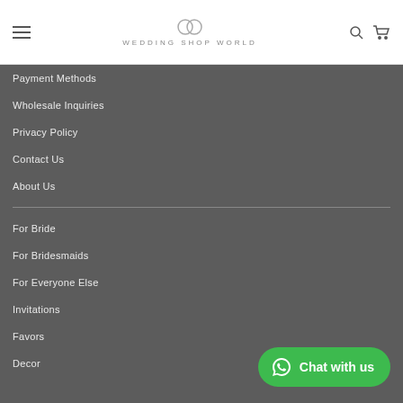WEDDING SHOP WORLD
Payment Methods
Wholesale Inquiries
Privacy Policy
Contact Us
About Us
For Bride
For Bridesmaids
For Everyone Else
Invitations
Favors
Decor
Chat with us